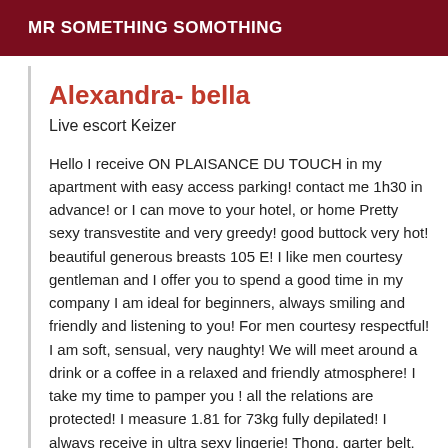MR SOMETHING SOMOTHING
Alexandra- bella
Live escort Keizer
Hello I receive ON PLAISANCE DU TOUCH in my apartment with easy access parking! contact me 1h30 in advance! or I can move to your hotel, or home Pretty sexy transvestite and very greedy! good buttock very hot! beautiful generous breasts 105 E! I like men courtesy gentleman and I offer you to spend a good time in my company I am ideal for beginners, always smiling and friendly and listening to you! For men courtesy respectful! I am soft, sensual, very naughty! We will meet around a drink or a coffee in a relaxed and friendly atmosphere! I take my time to pamper you ! all the relations are protected! I measure 1.81 for 73kg fully depilated! I always receive in ultra sexy lingerie! Thong, garter belt, lace, high heel, For any appointment, please contact me in person! I look forward to seeing you ! My